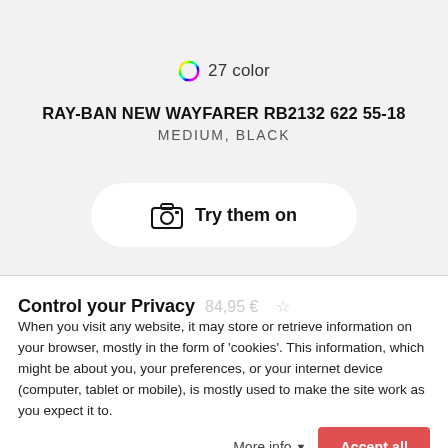[Figure (illustration): Rainbow-colored circle icon with '27 color' text]
RAY-BAN NEW WAYFARER RB2132 622 55-18
MEDIUM, BLACK
[Figure (illustration): Camera icon with 'Try them on' button]
Control your Privacy
When you visit any website, it may store or retrieve information on your browser, mostly in the form of 'cookies'. This information, which might be about you, your preferences, or your internet device (computer, tablet or mobile), is mostly used to make the site work as you expect it to.
More info   Accept all